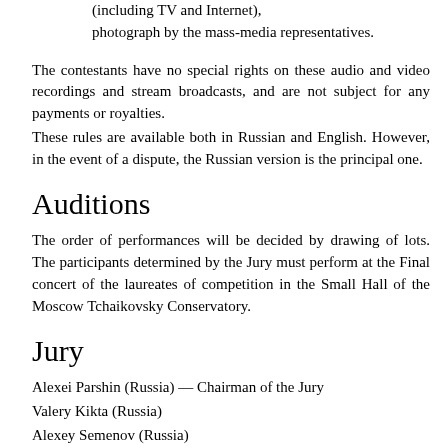(including TV and Internet), photograph by the mass-media representatives.
The contestants have no special rights on these audio and video recordings and stream broadcasts, and are not subject for any payments or royalties.
These rules are available both in Russian and English. However, in the event of a dispute, the Russian version is the principal one.
Auditions
The order of performances will be decided by drawing of lots. The participants determined by the Jury must perform at the Final concert of the laureates of competition in the Small Hall of the Moscow Tchaikovsky Conservatory.
Jury
Alexei Parshin (Russia) — Chairman of the Jury
Valery Kikta (Russia)
Alexey Semenov (Russia)
Galina Bulybenko (Ukraine)